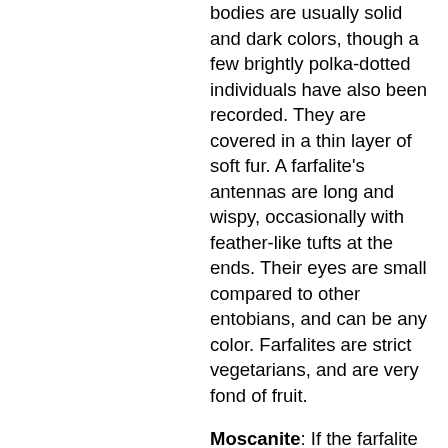bodies are usually solid and dark colors, though a few brightly polka-dotted individuals have also been recorded. They are covered in a thin layer of soft fur. A farfalite's antennas are long and wispy, occasionally with feather-like tufts at the ends. Their eyes are small compared to other entobians, and can be any color. Farfalites are strict vegetarians, and are very fond of fruit.
Moscanite: If the farfalite is the most comely of the entobians, the moscanite is the least. It bears the visage of a large fly; complete with two membranous wings and a chitinous body sparsely